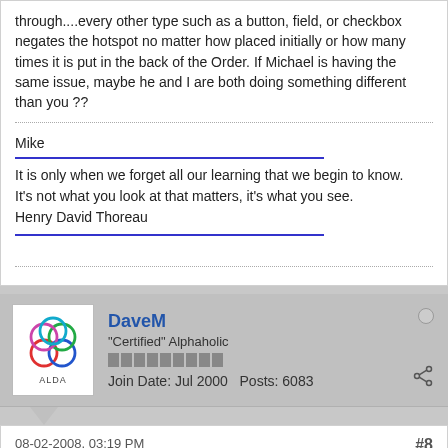through....every other type such as a button, field, or checkbox negates the hotspot no matter how placed initially or how many times it is put in the back of the Order. If Michael is having the same issue, maybe he and I are both doing something different than you ??
Mike
It is only when we forget all our learning that we begin to know. It's not what you look at that matters, it's what you see. Henry David Thoreau
DaveM
"Certified" Alphaholic
Join Date: Jul 2000   Posts: 6083
08-02-2008, 03:19 PM
#8
Re: Hotspots